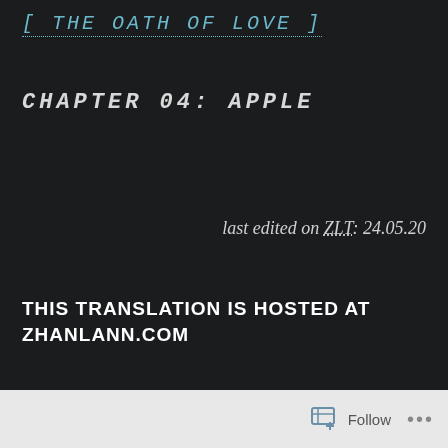[ THE OATH OF LOVE ]
CHAPTER 04: APPLE
last edited on ZLT: 24.05.20
THIS TRANSLATION IS HOSTED AT ZHANLANN.COM
Follow ...